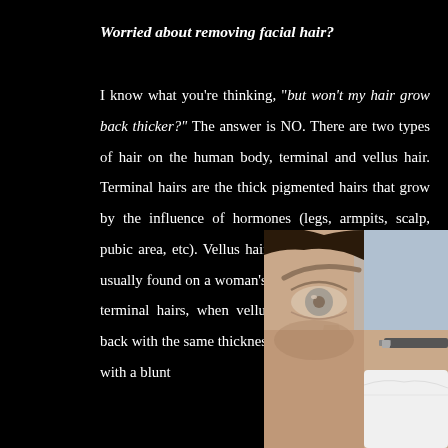Worried about removing facial hair?
I know what you're thinking, "but won't my hair grow back thicker?" The answer is NO. There are two types of hair on the human body, terminal and vellus hair. Terminal hairs are the thick pigmented hairs that grow by the influence of hormones (legs, armpits, scalp, pubic area, etc). Vellus hairs are fine translucent hairs usually found on a woman's face, back or chest. Unlike terminal hairs, when vellus hairs are cut they grow back with the same thickness and length as before, only with a blunt
[Figure (photo): Close-up photo of a woman's face (eye and nose visible) with a gloved hand holding a razor/blade near her cheek, illustrating facial hair removal.]